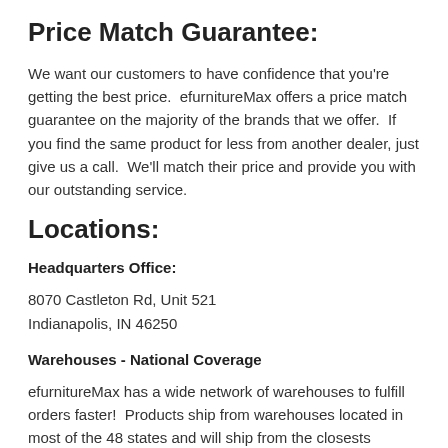Price Match Guarantee:
We want our customers to have confidence that you're getting the best price.  efurnitureMax offers a price match guarantee on the majority of the brands that we offer.  If you find the same product for less from another dealer, just give us a call.  We'll match their price and provide you with our outstanding service.
Locations:
Headquarters Office:
8070 Castleton Rd, Unit 521
Indianapolis, IN 46250
Warehouses - National Coverage
efurnitureMax has a wide network of warehouses to fulfill orders faster!  Products ship from warehouses located in most of the 48 states and will ship from the closests warehouse that stocks the product.